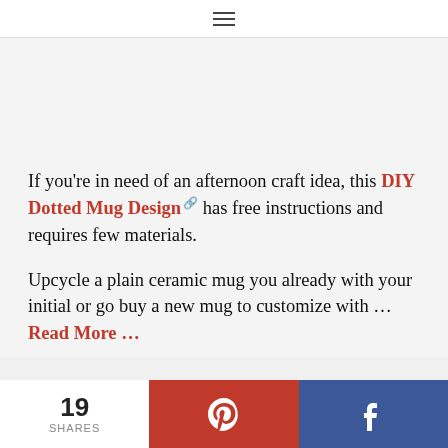☰
If you're in need of an afternoon craft idea, this DIY Dotted Mug Design has free instructions and requires few materials.
Upcycle a plain ceramic mug you already with your initial or go buy a new mug to customize with … Read More …
19 SHARES | Pinterest | Facebook